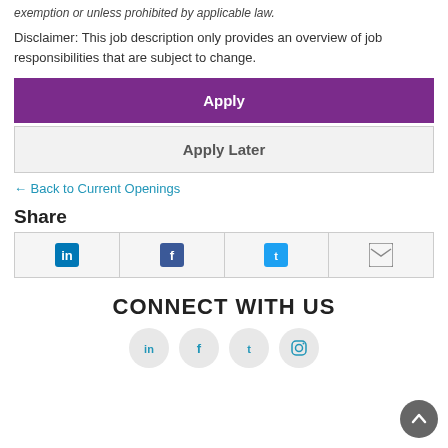exemption or unless prohibited by applicable law.
Disclaimer: This job description only provides an overview of job responsibilities that are subject to change.
Apply
Apply Later
← Back to Current Openings
Share
[Figure (infographic): Social share icons row: LinkedIn, Facebook, Twitter, Email]
CONNECT WITH US
[Figure (infographic): Connect With Us social icons: LinkedIn, Facebook, Twitter, Instagram]